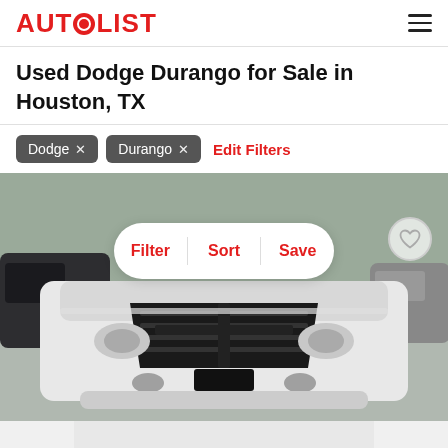AUTOLIST
Used Dodge Durango for Sale in Houston, TX
Dodge × Durango × Edit Filters
[Figure (photo): Front view of a white Dodge Durango SUV parked in a lot, with other cars visible in background. Overlay buttons for Filter, Sort, Save and a heart/save icon are shown on the image.]